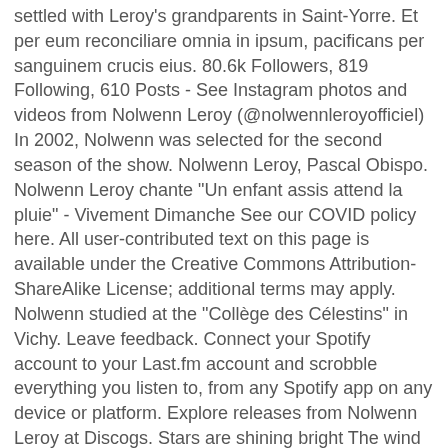settled with Leroy's grandparents in Saint-Yorre. Et per eum reconciliare omnia in ipsum, pacificans per sanguinem crucis eius. 80.6k Followers, 819 Following, 610 Posts - See Instagram photos and videos from Nolwenn Leroy (@nolwennleroyofficiel) In 2002, Nolwenn was selected for the second season of the show. Nolwenn Leroy, Pascal Obispo. Nolwenn Leroy chante "Un enfant assis attend la pluie" - Vivement Dimanche See our COVID policy here. All user-contributed text on this page is available under the Creative Commons Attribution-ShareAlike License; additional terms may apply. Nolwenn studied at the "Collège des Célestins" in Vichy. Leave feedback. Connect your Spotify account to your Last.fm account and scrobble everything you listen to, from any Spotify app on any device or platform. Explore releases from Nolwenn Leroy at Discogs. Stars are shining bright The wind is on the rise Whispering words Of long lost lullabies. It was released in 2003 in France, Belgium and Switzerland and achieved a great success in these countries, topping the French and Belgian charts. See popularity across the US and find out what else Bing knows. Tue, 04/04/2017 - 22:12 . Découvrez maintenant les hits de la chanson francaise de demain ! We don't have any upcoming